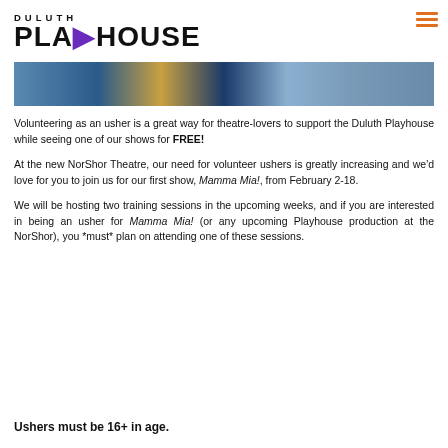DULUTH PLAYHOUSE
[Figure (photo): A wide banner photo showing a group of people standing together, likely at a theatre event at the Duluth Playhouse / NorShor Theatre, with a circular gold/blue stage curtain visible.]
Volunteering as an usher is a great way for theatre-lovers to support the Duluth Playhouse while seeing one of our shows for FREE!
At the new NorShor Theatre, our need for volunteer ushers is greatly increasing and we'd love for you to join us for our first show, Mamma Mia!, from February 2-18.
We will be hosting two training sessions in the upcoming weeks, and if you are interested in being an usher for Mamma Mia! (or any upcoming Playhouse production at the NorShor), you *must* plan on attending one of these sessions.
Ushers must be 16+ in age.